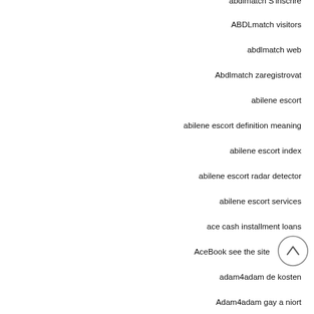abdlmatch S'inscrire
ABDLmatch visitors
abdlmatch web
Abdlmatch zaregistrovat
abilene escort
abilene escort definition meaning
abilene escort index
abilene escort radar detector
abilene escort services
ace cash installment loans
AceBook see the site
adam4adam de kosten
Adam4adam gay a niort